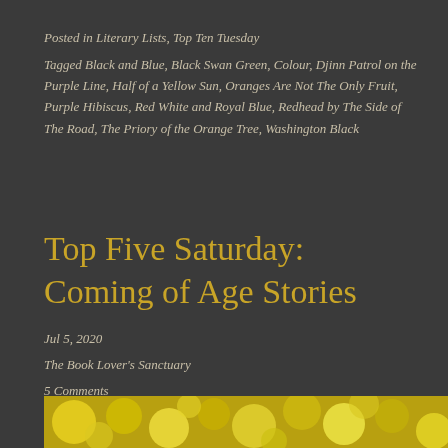Posted in Literary Lists, Top Ten Tuesday
Tagged Black and Blue, Black Swan Green, Colour, Djinn Patrol on the Purple Line, Half of a Yellow Sun, Oranges Are Not The Only Fruit, Purple Hibiscus, Red White and Royal Blue, Redhead by The Side of The Road, The Priory of the Orange Tree, Washington Black
Top Five Saturday: Coming of Age Stories
Jul 5, 2020
The Book Lover's Sanctuary
5 Comments
[Figure (photo): Blurred yellow bokeh circles on dark background, decorative image strip at bottom of page]